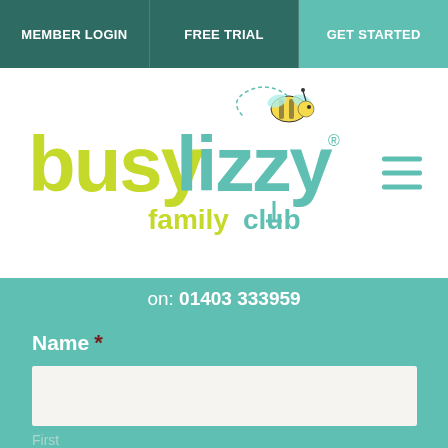MEMBER LOGIN | FREE TRIAL | GET STARTED
[Figure (logo): Busy Lizzy family club logo with bee illustration]
on: 01403 333959
Name *
First
Last